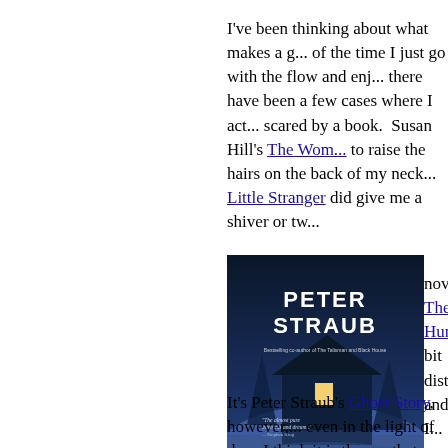I've been thinking about what makes a g... of the time I just go with the flow and enj... there have been a few cases where I act... scared by a book. Susan Hill's The Wom... to raise the hairs on the back of my neck... Little Stranger did give me a shiver or tw...
[Figure (photo): Book cover of Ghost Story by Peter Straub — dark blue atmospheric cover showing a snowy house at night with one lit window, featuring the author name 'PETER STRAUB' in large white letters and 'GHOST STORY' at the bottom in stylized text. A quote from Stephen King appears on the cover.]
novel, The Hunting... bit disturbing and I... warning on the boo... for younger childre... reading it in the bri... might be looking ov... hear a noise or ser... me (I think I could a... it and it would pass... last load out of the...
It's Peter Straub's Ghost Story, however,... even in the light of day. I think it is the o... that makes it scary--the events are so pla... it's not so far fetched to imagine them ac... Straub knows just how to tease his reade... enough information to make you interest... very uncertain as to the character's moti...